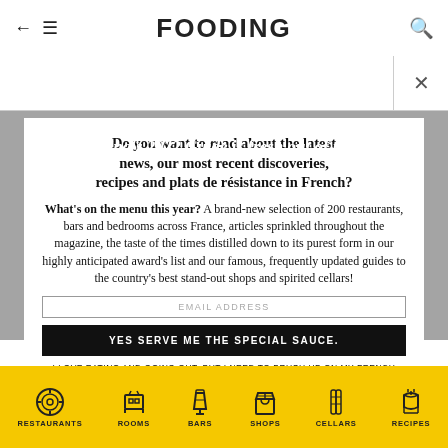FOODING
EMAIL ADDRESS
Le Fooding's 2022 Guide is fresh out of the oven!
Do you want to read about the latest news, our most recent discoveries, recipes and plats de résistance in French?
What's on the menu this year? A brand-new selection of 200 restaurants, bars and bedrooms across France, articles sprinkled throughout the magazine, the taste of the times distilled down to its purest form in our highly anticipated award's list and our famous, frequently updated guides to the country's best stand-out shops and spirited cellars!
YES SERVE ME THE SPECIAL SAUCE.
I LOVE EATING AND GOING OUT, BUT I NEED TO BRUSH UP ON MY FRENCH FIRST.
You can unsubscribe at any time. Please see our Personal Data Protection Policy for more information about how we handle your data.
RESTAURANTS  ROOMS  BARS  SHOPS  CELLARS  RECIPES